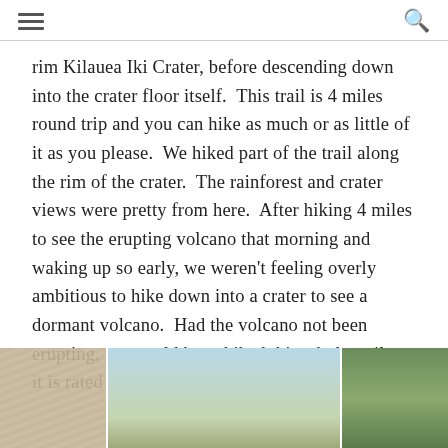[hamburger menu] [search icon]
rim Kilauea Iki Crater, before descending down into the crater floor itself.  This trail is 4 miles round trip and you can hike as much or as little of it as you please.  We hiked part of the trail along the rim of the crater.  The rainforest and crater views were pretty from here.  After hiking 4 miles to see the erupting volcano that morning and waking up so early, we weren't feeling overly ambitious to hike down into a crater to see a dormant volcano.  Had the volcano not been erupting, we would have hiked this whole trail as it is rated as one of the best.
[Figure (photo): Three photos in a row: left photo shows a brown/tan rocky volcanic crater landscape; middle photo shows a sky-blue and green treetop landscape; right photo shows green trees in a forest.]